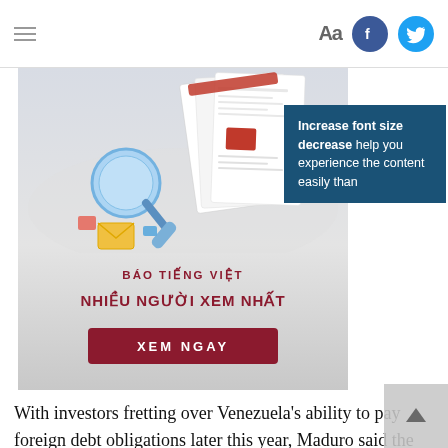AA (font size) | Facebook | Twitter
[Figure (illustration): Advertisement banner for Vietnamese news website showing a magnifying glass over news pages, with text 'BAO TIENG VIET NHIEU NGUOI XEM NHAT' and a red 'XEM NGAY' button]
Increase font size decrease help you experience the content easily than
With investors fretting over Venezuela's ability to pay foreign debt obligations later this year, Maduro said the government was seeking assistance from